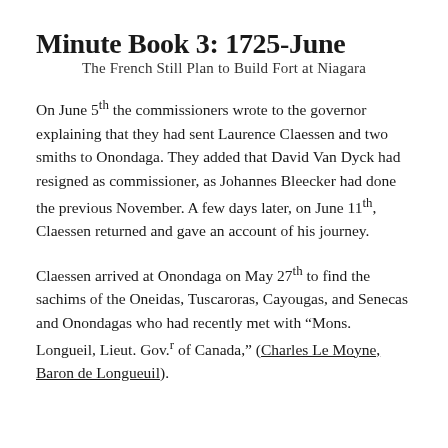Minute Book 3: 1725-June
The French Still Plan to Build Fort at Niagara
On June 5th the commissioners wrote to the governor explaining that they had sent Laurence Claessen and two smiths to Onondaga. They added that David Van Dyck had resigned as commissioner, as Johannes Bleecker had done the previous November. A few days later, on June 11th, Claessen returned and gave an account of his journey.
Claessen arrived at Onondaga on May 27th to find the sachims of the Oneidas, Tuscaroras, Cayougas, and Senecas and Onondagas who had recently met with “Mons. Longueil, Lieut. Gov.r of Canada,” (Charles Le Moyne, Baron de Longueuil).